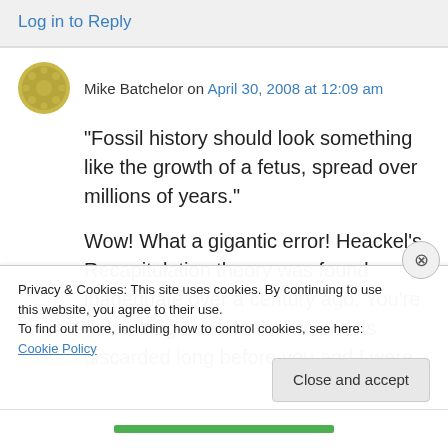Log in to Reply
Mike Batchelor on April 30, 2008 at 12:09 am
“Fossil history should look something like the growth of a fetus, spread over millions of years.”
Wow! What a gigantic error! Heackel’s Recapitulation theory was found inadequate over a century ago. You’re debunking science that scientists discarded long before you and I were
Privacy & Cookies: This site uses cookies. By continuing to use this website, you agree to their use.
To find out more, including how to control cookies, see here: Cookie Policy
Close and accept